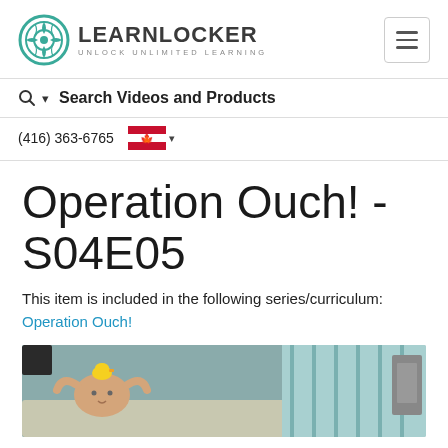LEARNLOCKER — UNLOCK UNLIMITED LEARNING
Search Videos and Products
(416) 363-6765
Operation Ouch! - S04E05
This item is included in the following series/curriculum: Operation Ouch!
[Figure (photo): A person lying on a medical/hospital gurney with a yellow rubber duck on their forehead, in a hospital-like setting with teal curtains in the background.]